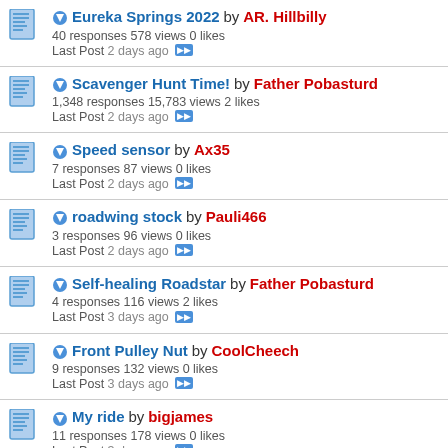Eureka Springs 2022 by AR. Hillbilly — 40 responses 578 views 0 likes — Last Post 2 days ago
Scavenger Hunt Time! by Father Pobasturd — 1,348 responses 15,783 views 2 likes — Last Post 2 days ago
Speed sensor by Ax35 — 7 responses 87 views 0 likes — Last Post 2 days ago
roadwing stock by Pauli466 — 3 responses 96 views 0 likes — Last Post 2 days ago
Self-healing Roadstar by Father Pobasturd — 4 responses 116 views 2 likes — Last Post 3 days ago
Front Pulley Nut by CoolCheech — 9 responses 132 views 0 likes — Last Post 3 days ago
My ride by bigjames — 11 responses 178 views 0 likes — Last Post 3 days ago